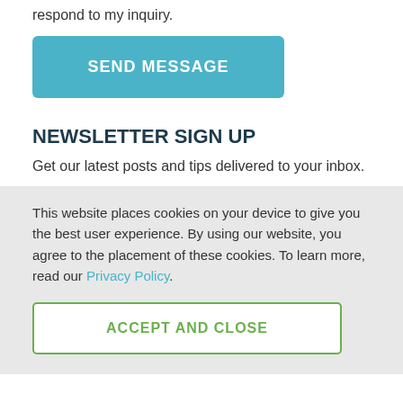respond to my inquiry.
SEND MESSAGE
NEWSLETTER SIGN UP
Get our latest posts and tips delivered to your inbox.
This website places cookies on your device to give you the best user experience. By using our website, you agree to the placement of these cookies. To learn more, read our Privacy Policy.
ACCEPT AND CLOSE